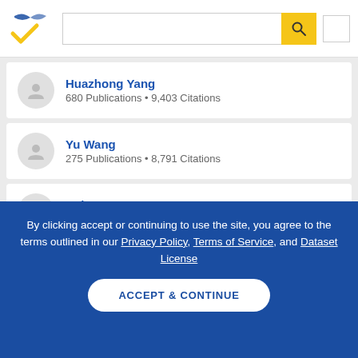[Figure (screenshot): Semantic Scholar logo — stylized blue and gold book/check mark icon]
Huazhong Yang
680 Publications • 9,403 Citations
Yu Wang
275 Publications • 8,791 Citations
Kaiyuan Guo
27 Publications • 1,630 Citations
Michaela Blott
By clicking accept or continuing to use the site, you agree to the terms outlined in our Privacy Policy, Terms of Service, and Dataset License
ACCEPT & CONTINUE